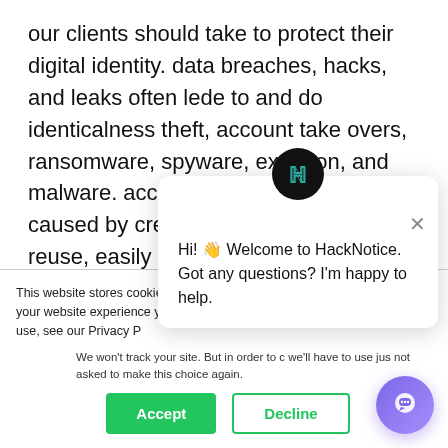our clients should take to protect their digital identity. data breaches, hacks, and leaks often lede to and do identicalness theft, account take overs, ransomware, spyware, extortion, and malware. account takeovers are often caused by credential reuse, password reuse, easily guessed passwords, and are facilitated by the sharing of billions of credentials and other customer information through data leaks, as the direct result of
This website stores cookies on your computer. These are used to improve your website experience you, both on this website and through cookies we use, see our Privacy P...
We won't track your site. But in order to c we'll have to use jus not asked to make this choice again.
[Figure (screenshot): Cookie consent banner with Accept and Decline buttons, and a HackNotice chat popup in the lower right with message 'Hi! Welcome to HackNotice. Got any questions? I'm happy to help.' and a purple chat launcher button.]